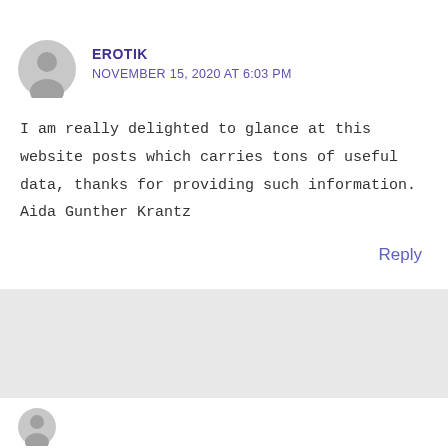EROTIK
NOVEMBER 15, 2020 AT 6:03 PM
I am really delighted to glance at this website posts which carries tons of useful data, thanks for providing such information. Aida Gunther Krantz
Reply